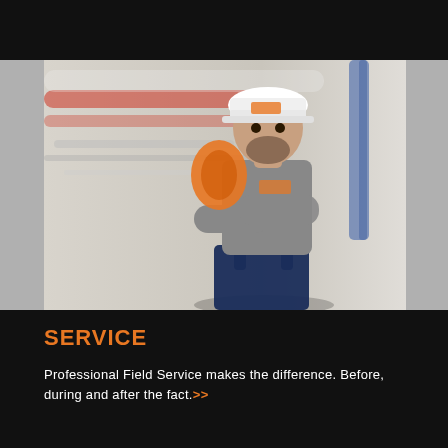[Figure (photo): A male field service technician wearing a white hard hat with a company logo, a grey company t-shirt, and blue overalls/suspenders. He holds orange electrical cable coiled over his shoulder and stands with arms crossed in an industrial facility with blurred pipes and equipment in the background.]
SERVICE
Professional Field Service makes the difference. Before, during and after the fact.>>